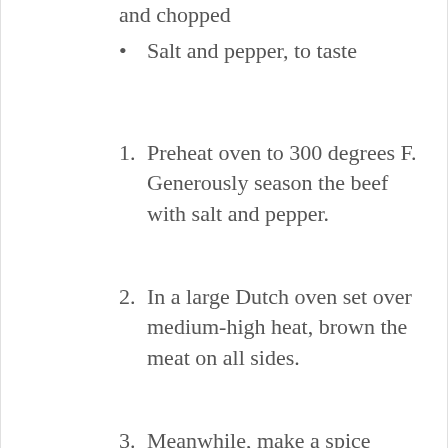and chopped
Salt and pepper, to taste
Preheat oven to 300 degrees F. Generously season the beef with salt and pepper.
In a large Dutch oven set over medium-high heat, brown the meat on all sides.
Meanwhile, make a spice paste by combining the chipotle pepper, vinegar, cumin, oregano, allspice (if using), and garlic in a food processor. Blend